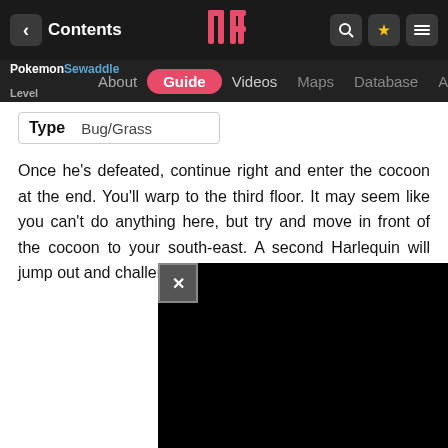Contents | Guide
Pokemon Sewaddle Level
| Type | Bug/Grass |
| --- | --- |
Once he's defeated, continue right and enter the cocoon at the end. You'll warp to the third floor. It may seem like you can't do anything here, but try and move in front of the cocoon to your south-east. A second Harlequin will jump out and challenge you.
[Figure (screenshot): Black advertisement overlay with close button (X)]